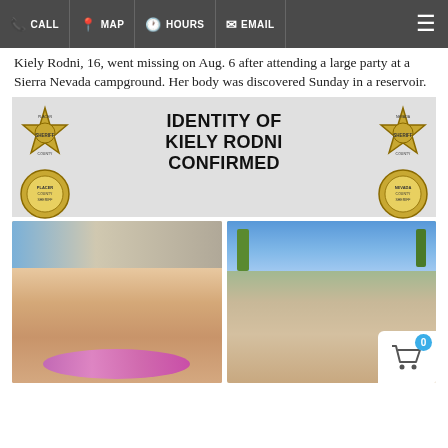CALL  MAP  HOURS  EMAIL
Kiely Rodni, 16, went missing on Aug. 6 after attending a large party at a Sierra Nevada campground. Her body was discovered Sunday in a reservoir.
[Figure (infographic): Official announcement graphic with sheriff badge logos reading: IDENTITY OF KIELY RODNI CONFIRMED, with Placer County Sheriff and Nevada County Sheriff badges on left and right sides]
[Figure (photo): Two side-by-side photos of Kiely Rodni. Left: smiling young girl wearing a purple/pink flower lei. Right: young girl smiling at an outdoor tropical setting.]